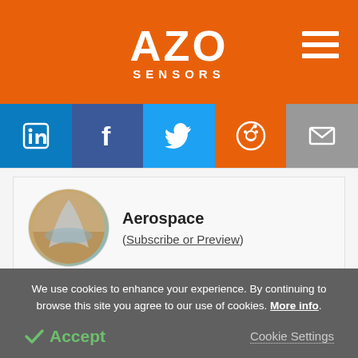AZO SENSORS
[Figure (infographic): Social media sharing bar with LinkedIn, Facebook, Twitter, Reddit, and Email icons]
Aerospace (Subscribe or Preview)
Clean Technology (Subscribe or Preview)
We use cookies to enhance your experience. By continuing to browse this site you agree to our use of cookies. More info.
Accept   Cookie Settings